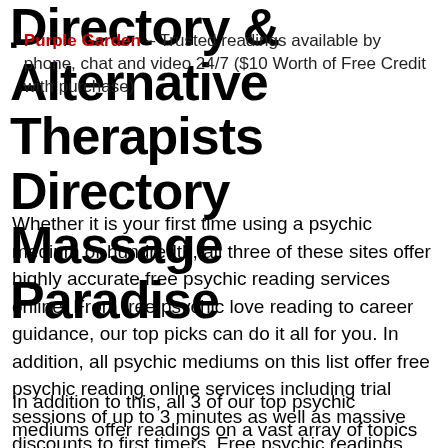Directory & Alternative Therapists Directory Massage Paradise
Purple Garden – Trusted readings available by phone, chat and video 24/7 ($10 Worth of Free Credit with purchase)
Whether it is your first time using a psychic medium or hundredth, all three of these sites offer highly accurate free psychic reading services online. From free psychic love reading to career guidance, our top picks can do it all for you. In addition, all psychic mediums on this list offer free psychic reading online services including trial sessions of up to 3 minutes as well as massive discounts to first timers. Free psychic readings can help first timers know more about online psychic readings before switching to charged sessions.
In addition to this, all 3 of our top psychic mediums offer readings on a vast array of topics including astrological readings, spiritual readings, love readings, tarot readings,